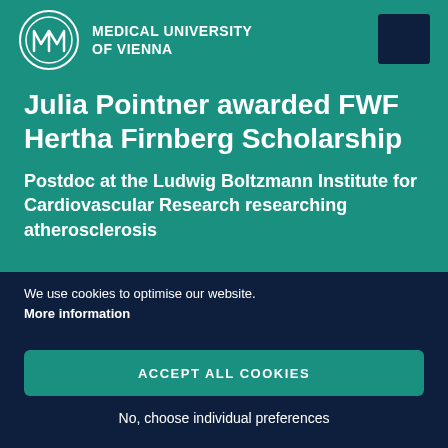[Figure (logo): Medical University of Vienna circular logo with MU monogram and university name text]
Julia Pointner awarded FWF Hertha Firnberg Scholarship
Postdoc at the Ludwig Boltzmann Institute for Cardiovascular Research researching atherosclerosis
We use cookies to optimise our website. More information
ACCEPT ALL COOKIES
No, choose individual preferences